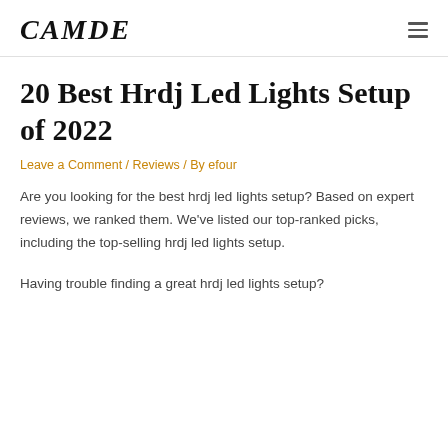CAMDE
20 Best Hrdj Led Lights Setup of 2022
Leave a Comment / Reviews / By efour
Are you looking for the best hrdj led lights setup? Based on expert reviews, we ranked them. We've listed our top-ranked picks, including the top-selling hrdj led lights setup.
Having trouble finding a great hrdj led lights setup?